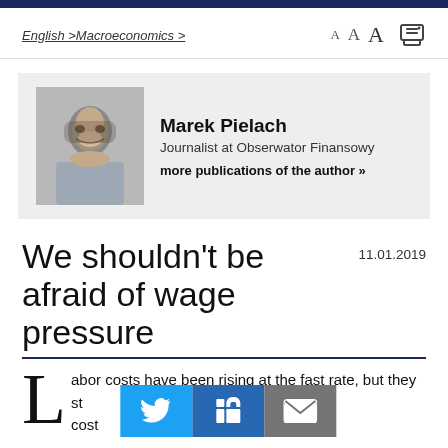English > Macroeconomics >
[Figure (photo): Author photo of Marek Pielach, a bearded man in a grey shirt]
Marek Pielach
Journalist at Obserwator Finansowy
more publications of the author »
We shouldn't be afraid of wage pressure
11.01.2019
Labor costs have been rising at the fast rate, but they still account for a few per cent of the operating costs, and the rest is in the pockets of employers. Photo: